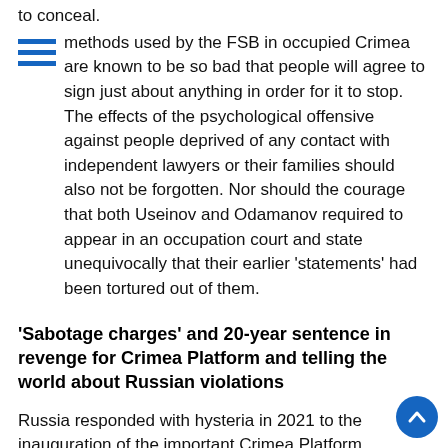to conceal.
methods used by the FSB in occupied Crimea are known to be so bad that people will agree to sign just about anything in order for it to stop. The effects of the psychological offensive against people deprived of any contact with independent lawyers or their families should also not be forgotten. Nor should the courage that both Useinov and Odamanov required to appear in an occupation court and state unequivocally that their earlier 'statements' had been tortured out of them.
'Sabotage charges' and 20-year sentence in revenge for Crimea Platform and telling the world about Russian violations
Russia responded with hysteria in 2021 to the inauguration of the important Crimea Platform international initiative and with open threats, including against Nariman Dzhelyal.  He was one of several leaders of the Mejlis, or self-governing body, of the Crimean Tatar people, who took part, together with high-ranking representatives of 45 countries.  He was also the only leader still living in Crimea, following earlier repressive measures against others, and insisted on